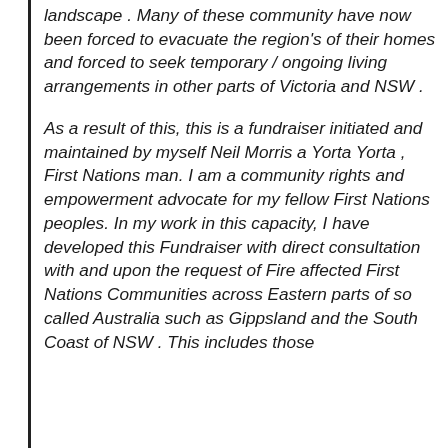landscape . Many of these community have now been forced to evacuate the region's of their homes and forced to seek temporary / ongoing living arrangements in other parts of Victoria and NSW .
As a result of this, this is a fundraiser initiated and maintained by myself Neil Morris a Yorta Yorta , First Nations man. I am a community rights and empowerment advocate for my fellow First Nations peoples. In my work in this capacity, I have developed this Fundraiser with direct consultation with and upon the request of Fire affected First Nations Communities across Eastern parts of so called Australia such as Gippsland and the South Coast of NSW . This includes those